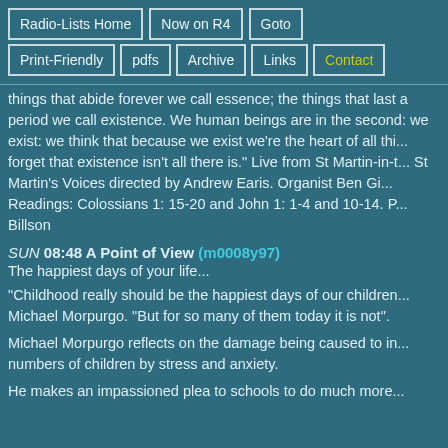Radio-Lists Home
Now on R4
Goto
Print-Friendly
pdfs
Archive
Links
Contact
things that abide forever we call essence; the things that last a period we call existence. We human beings are in the second: we exist: we think that because we exist we're the heart of all things, forget that existence isn't all there is." Live from St Martin-in-the-Fields. St Martin's Voices directed by Andrew Earis. Organist Ben Giddens. Readings: Colossians 1: 15-20 and John 1: 1-4 and 10-14. Presenter: Billson
SUN 08:48 A Point of View (m0008y97)
The happiest days of your life...
"Childhood really should be the happiest days of our children," says Michael Morpurgo. "But for so many of them today it is not".
Michael Morpurgo reflects on the damage being caused to increasing numbers of children by stress and anxiety.
He makes an impassioned plea to schools to do much more...